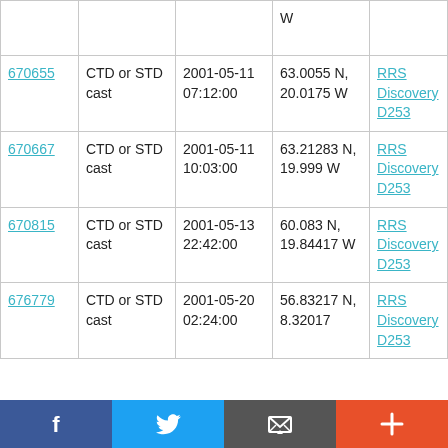| ID | Type | Date | Location | Cruise |
| --- | --- | --- | --- | --- |
|  |  |  | W |  |
| 670655 | CTD or STD cast | 2001-05-11 07:12:00 | 63.0055 N, 20.0175 W | RRS Discovery D253 |
| 670667 | CTD or STD cast | 2001-05-11 10:03:00 | 63.21283 N, 19.999 W | RRS Discovery D253 |
| 670815 | CTD or STD cast | 2001-05-13 22:42:00 | 60.083 N, 19.84417 W | RRS Discovery D253 |
| 676779 | CTD or STD cast | 2001-05-20 02:24:00 | 56.83217 N, 8.32017 | RRS Discovery D253 |
f  Twitter  Email  +